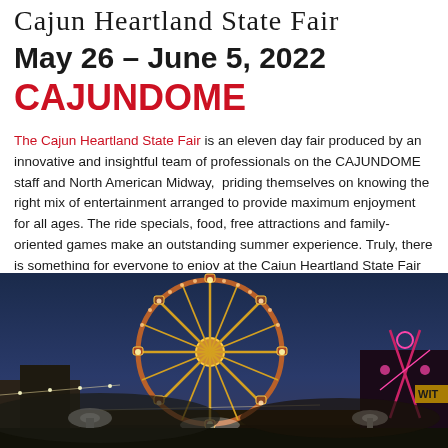Cajun Heartland State Fair
May 26 – June 5, 2022
CAJUNDOME
The Cajun Heartland State Fair is an eleven day fair produced by an innovative and insightful team of professionals on the CAJUNDOME staff and North American Midway,  priding themselves on knowing the right mix of entertainment arranged to provide maximum enjoyment for all ages. The ride specials, food, free attractions and family-oriented games make an outstanding summer experience. Truly, there is something for everyone to enjoy at the Cajun Heartland State Fair fairgrounds.
[Figure (photo): Night photo of a Ferris wheel illuminated with lights at the Cajun Heartland State Fair, with a dark blue evening sky in the background and other fair rides visible.]